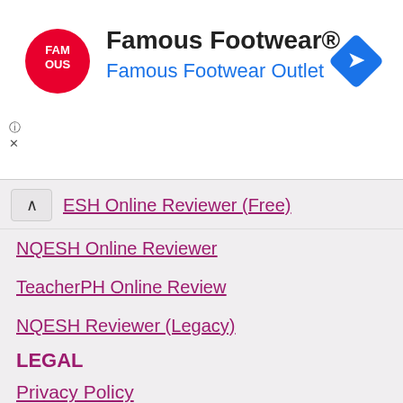[Figure (infographic): Famous Footwear advertisement banner with red circular FAM OUS logo, text 'Famous Footwear®' in bold black and 'Famous Footwear Outlet' in blue, and a blue diamond navigation arrow icon on the right]
ESH Online Reviewer (Free)
NQESH Online Reviewer
TeacherPH Online Review
NQESH Reviewer (Legacy)
LEGAL
Privacy Policy
Terms of Service
Cookie Policy
Security Policy